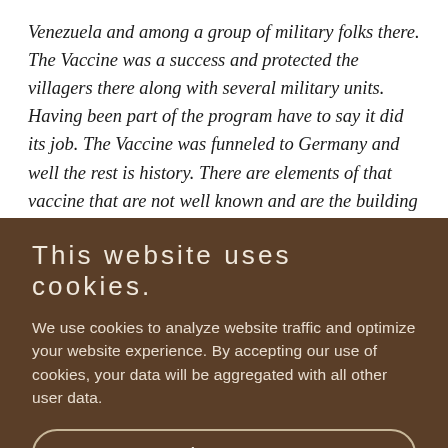Venezuela and among a group of military folks there. The Vaccine was a success and protected the villagers there along with several military units. Having been part of the program have to say it did its job. The Vaccine was funneled to Germany and well the rest is history. There are elements of that vaccine that are not well known and are the building blocks for additional Vaccines, given not only the mutations that have been an ongoing problem but
This website uses cookies.
We use cookies to analyze website traffic and optimize your website experience. By accepting our use of cookies, your data will be aggregated with all other user data.
Accept